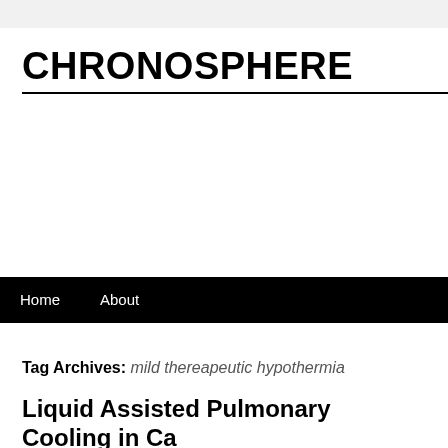CHRONOSPHERE
Tag Archives: mild thereapeutic hypothermia
Liquid Assisted Pulmonary Cooling in Ca